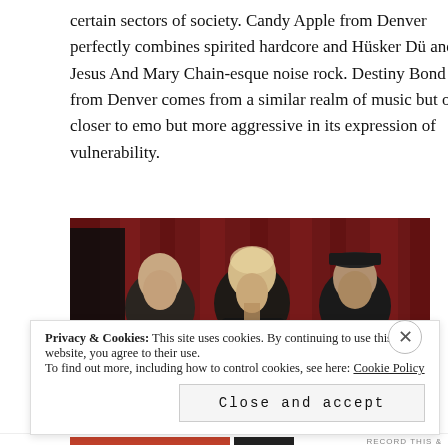certain sectors of society. Candy Apple from Denver perfectly combines spirited hardcore and Hüsker Dü and The Jesus And Mary Chain-esque noise rock. Destiny Bond also from Denver comes from a similar realm of music but one closer to emo but more aggressive in its expression of vulnerability.
[Figure (photo): Band photo of three musicians standing in front of a red curtain backdrop in a dark venue setting]
Privacy & Cookies: This site uses cookies. By continuing to use this website, you agree to their use.
To find out more, including how to control cookies, see here: Cookie Policy
Close and accept